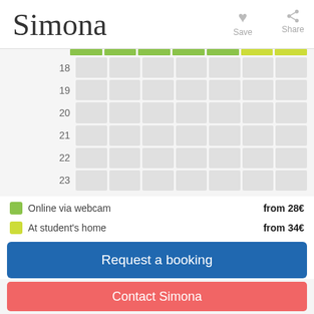Simona
Save
Share
[Figure (other): Weekly availability schedule grid showing hours 18-23 across 7 columns with green and yellow color bars indicating availability types]
Online via webcam    from 28€
At student's home    from 34€
Request a booking
Good-fit Instructor Guarantee
Contact Simona